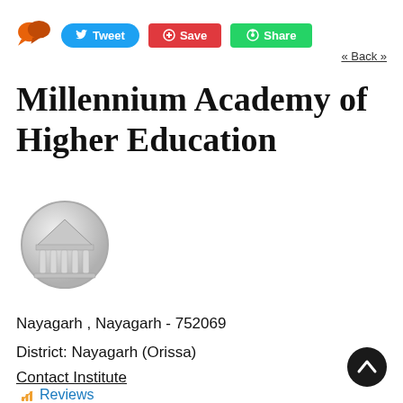[Figure (screenshot): Social sharing toolbar with chat icon, Tweet button (blue), Save button (red), and Share button (green)]
« Back »
Millennium Academy of Higher Education
[Figure (logo): Circular grey logo with a classical column building (university/institution icon)]
Nayagarh , Nayagarh - 752069
District: Nayagarh (Orissa)
Contact Institute
Reviews